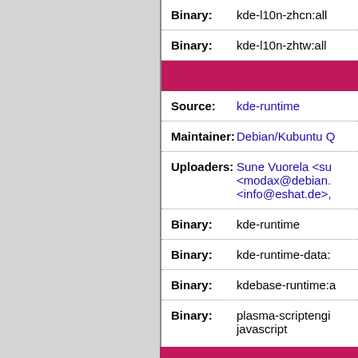| Binary: | kde-l10n-zhcn:all |
| Binary: | kde-l10n-zhtw:all |
| Source: | kde-runtime |
| Maintainer: | Debian/Kubuntu Q |
| Uploaders: | Sune Vuorela <su
<modax@debian.
<info@eshat.de>, |
| Binary: | kde-runtime |
| Binary: | kde-runtime-data: |
| Binary: | kdebase-runtime:a |
| Binary: | plasma-scriptengine-javascript |